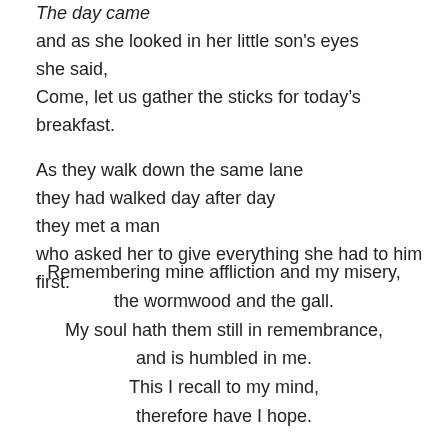The day came
and as she looked in her little son's eyes
she said,
Come, let us gather the sticks for today's breakfast.

As they walk down the same lane
they had walked day after day
they met a man
who asked her to give everything she had to him first.
Remembering mine affliction and my misery,
the wormwood and the gall.
My soul hath them still in remembrance,
and is humbled in me.
This I recall to my mind,
therefore have I hope.